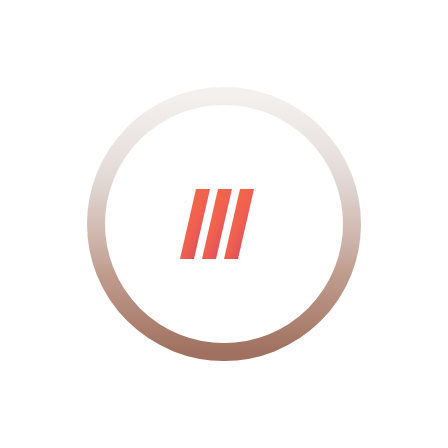[Figure (logo): A circular logo with a gradient ring (light gray/white at top fading to copper/brown at bottom) encircling three diagonal slash/bar marks forming an 'M' or triple-bar shape, rendered in an orange-to-pink/red gradient.]